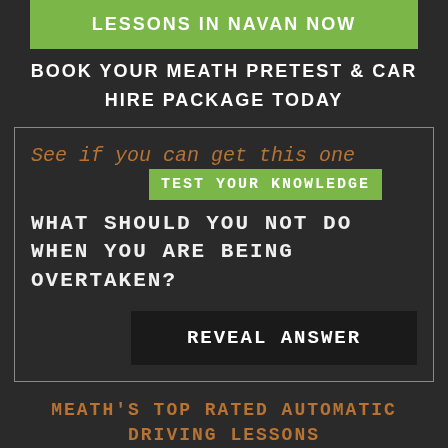LESSONS IN NAVAN NOW
BOOK YOUR MEATH PRETEST & CAR
HIRE PACKAGE TODAY
See if you can get this one
TEST YOUR KNOWLEDGE
WHAT SHOULD YOU NOT DO WHEN YOU ARE BEING OVERTAKEN?
REVEAL ANSWER
MEATH'S TOP RATED AUTOMATIC DRIVING LESSONS